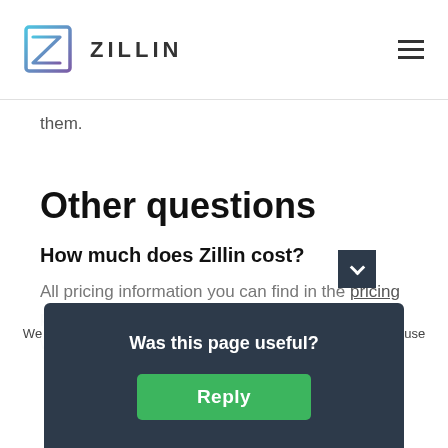[Figure (logo): Zillin logo with geometric arrow icon and text ZILLIN]
them.
Other questions
How much does Zillin cost?
All pricing information you can find in the pricing page. Basically, the prices are very low even when comparing just to maintaining your own IT
We use cookies to enable a better operation of our website. If you use our website you download cookies. cookies.
Was this page useful?
Reply